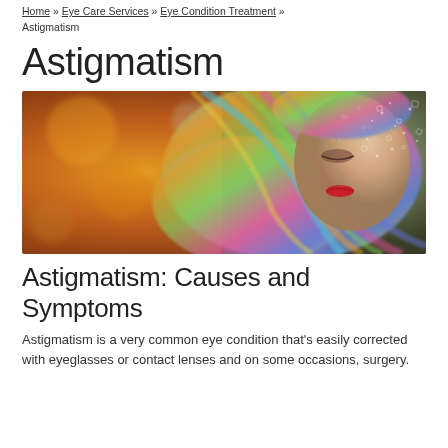Home » Eye Care Services » Eye Condition Treatment » Astigmatism
Astigmatism
[Figure (photo): A woman with colorful flowing hair blending into abstract digital art with warm bokeh background, representing visual perception and astigmatism]
Astigmatism: Causes and Symptoms
Astigmatism is a very common eye condition that's easily corrected with eyeglasses or contact lenses and on some occasions, surgery.